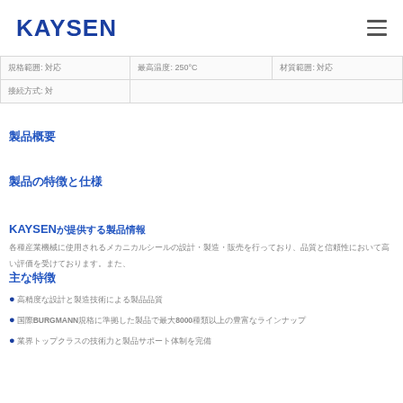KAYSEN
| 規格範囲: 対応 | 最高温度: 250°C | 材質範囲: 対応 |
| 接続方式: 対 |  |  |
製品概要
製品の特徴と仕様
KAYSENが提供する製品情報
各種産業機械に使用されるメカニカルシールの設計・製造・販売を行っており、品質と信頼性において高い評価を受けております。
主な特徴
●高精度な設計と製造技術による製品品質
●国際BURGMANN規格に準拠した製品で最大8000種類以上の豊富なラインナップ
●業界トップクラスの技術力と製品サポート体制を完備